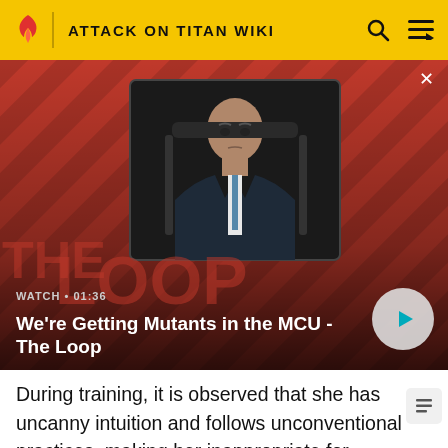ATTACK ON TITAN WIKI
[Figure (screenshot): Video thumbnail showing a bald man in a suit sitting in a chair, with a red and black diagonal striped background. Overlay text: WATCH • 01:36. Title: We're Getting Mutants in the MCU - The Loop. Play button visible on right.]
During training, it is observed that she has uncanny intuition and follows unconventional practices, making her inappropriate for group activities. During a training session in which the trainees practice their maneuvering skills against Titan mannequins, Sasha tails Connie and